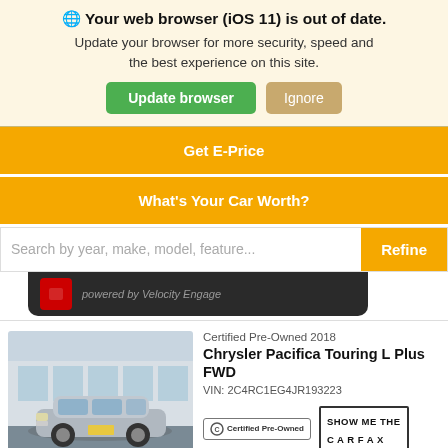🌐 Your web browser (iOS 11) is out of date. Update your browser for more security, speed and the best experience on this site.
Update browser
Ignore
Get E-Price
What's Your Car Worth?
Search by year, make, model, feature...
Refine
[Figure (screenshot): Velocity Engage powered by banner with red icon on dark background]
Certified Pre-Owned 2018
Chrysler Pacifica Touring L Plus FWD
VIN: 2C4RC1EG4JR193223
[Figure (photo): Silver Chrysler Pacifica minivan parked in front of a dealership building]
[Figure (logo): Certified Pre-Owned badge logo]
[Figure (logo): Show Me The CARFAX logo]
Details